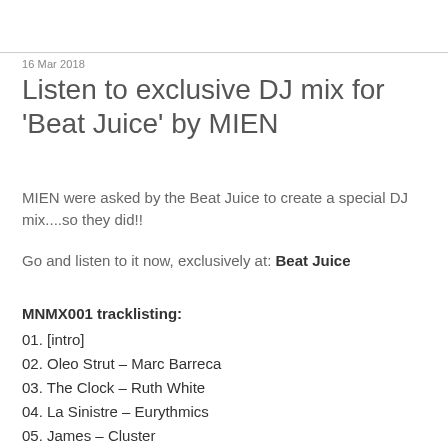16 Mar 2018
Listen to exclusive DJ mix for 'Beat Juice' by MIEN
MIEN were asked by the Beat Juice to create a special DJ mix....so they did!!
Go and listen to it now, exclusively at: Beat Juice
MNMX001 tracklisting:
01. [intro]
02. Oleo Strut – Marc Barreca
03. The Clock – Ruth White
04. La Sinistre – Eurythmics
05. James – Cluster
06. A-Train – The Flying Lizards
07. Tchi Tchi Vox – Vox Populi!